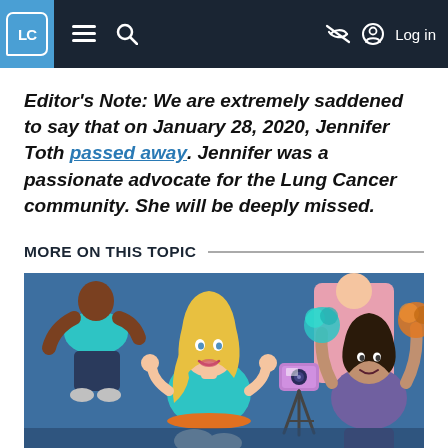LC — navigation bar with menu, search, and Log in
Editor's Note: We are extremely saddened to say that on January 28, 2020, Jennifer Toth passed away. Jennifer was a passionate advocate for the Lung Cancer community. She will be deeply missed.
MORE ON THIS TOPIC
[Figure (illustration): Colorful illustration of three people: a woman with blonde hair speaking/gesturing in front of a camera on a tripod, a person in teal clothing in the background, and a person in purple clothing raising their arms with orange pom-poms. Set against a blue background.]